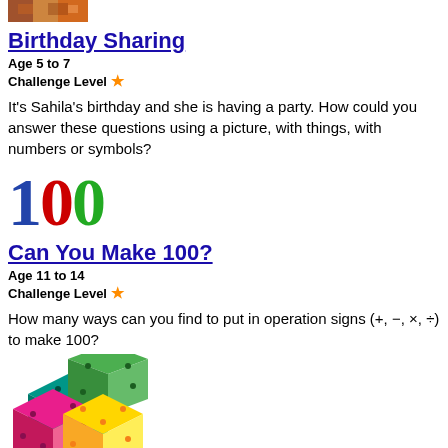[Figure (photo): Small thumbnail image of a birthday scene or colorful pattern]
Birthday Sharing
Age 5 to 7
Challenge Level ★
It's Sahila's birthday and she is having a party. How could you answer these questions using a picture, with things, with numbers or symbols?
[Figure (illustration): Large colorful '100' text with blue 1, red 0, and green 0]
Can You Make 100?
Age 11 to 14
Challenge Level ★
How many ways can you find to put in operation signs (+, −, ×, ÷) to make 100?
[Figure (illustration): Colorful illustration of six numbered dice/cubes stacked together in pink, green, yellow, teal colors]
Six Numbered Cubes